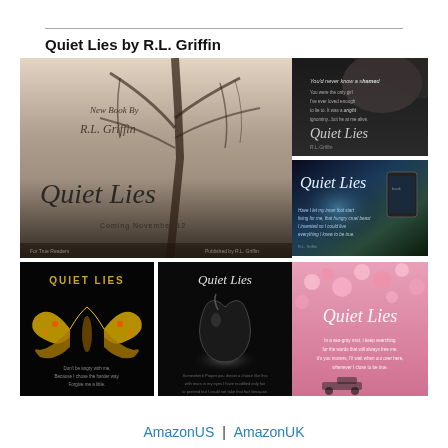Quiet Lies by R.L. Griffin
[Figure (photo): Collage of 5 book cover images for 'Quiet Lies' by R.L. Griffin. Main large image: misty tree with script title 'Quiet Lies' and text 'New Book By R.L. Griffin, Coming November 12'. Top right: dark moody portrait with 'Quiet Lies' text. Middle right: dark aurora/borealis with 'Quiet Lies' script and quote text. Bottom left: black background with jeweled butterfly and 'QUIET LIES' bold text. Bottom middle: dark apple on black background with 'Quiet Lies' script. Bottom right: pink cherry blossoms with 'Quiet Lies' script and quote.]
AmazonUS | AmazonUK